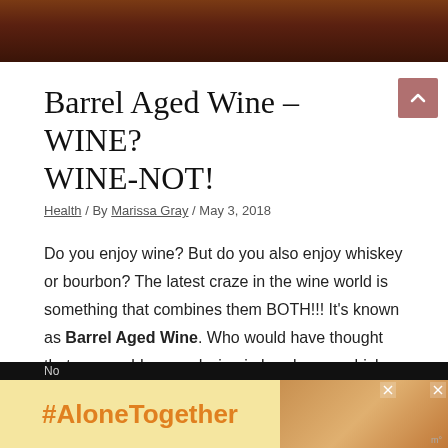[Figure (photo): Dark reddish-brown banner photo at top of page, likely showing wine barrels or similar]
Barrel Aged Wine – WINE? WINE-NOT!
Health / By Marissa Gray / May 3, 2018
Do you enjoy wine? But do you also enjoy whiskey or bourbon? The latest craze in the wine world is something that combines them BOTH!!! It's known as Barrel Aged Wine. Who would have thought that you could age red wine in bourbon or whiskey barrels to give it an awesome, unique and vibrate taste!!! In this blog post, I will explain the in's and out of this new craze and give my personal favorite suggestions, ALL reasonably priced!!!
[Figure (infographic): #AloneTogether advertisement banner at bottom of page with yellow background and photo of woman]